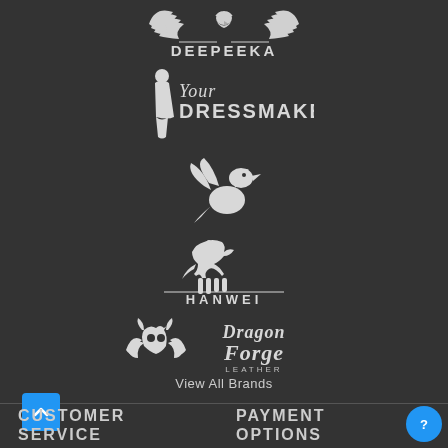[Figure (logo): Deepeeka brand logo — stylized wings with eagle head, text DEEPEEKA in vintage style]
[Figure (logo): Your Dressmaker brand logo — silhouette of woman with script 'Your' and bold 'DRESSMAKER' text]
[Figure (logo): Griffin creature logo — white silhouette of a griffin (winged lion)]
[Figure (logo): Hanwei brand logo — stylized horse figure above text HANWEI]
[Figure (logo): Dragon Forge Leather brand logo — gothic script text with dragon skull ornament]
View All Brands
CUSTOMER SERVICE
PAYMENT OPTIONS